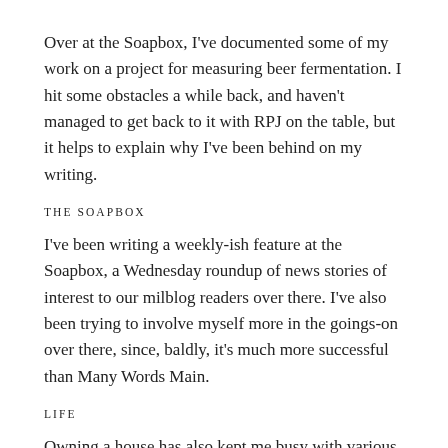Over at the Soapbox, I've documented some of my work on a project for measuring beer fermentation. I hit some obstacles a while back, and haven't managed to get back to it with RPJ on the table, but it helps to explain why I've been behind on my writing.
THE SOAPBOX
I've been writing a weekly-ish feature at the Soapbox, a Wednesday roundup of news stories of interest to our milblog readers over there. I've also been trying to involve myself more in the goings-on over there, since, baldly, it's much more successful than Many Words Main.
LIFE
Owning a house has also kept me busy with various